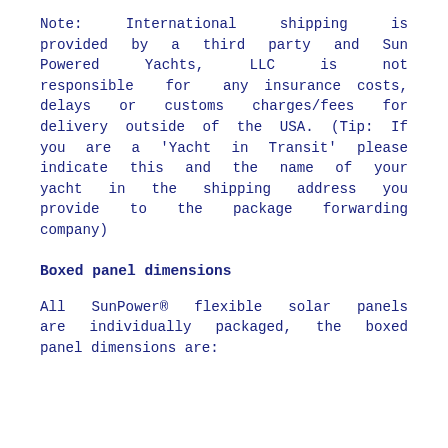Note: International shipping is provided by a third party and Sun Powered Yachts, LLC is not responsible for any insurance costs, delays or customs charges/fees for delivery outside of the USA. (Tip: If you are a 'Yacht in Transit' please indicate this and the name of your yacht in the shipping address you provide to the package forwarding company)
Boxed panel dimensions
All SunPower® flexible solar panels are individually packaged, the boxed panel dimensions are: